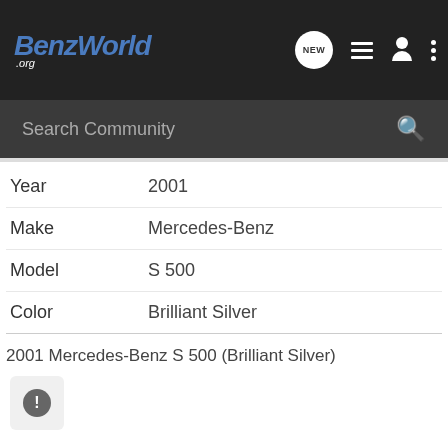BenzWorld .org
Search Community
| Field | Value |
| --- | --- |
| Year | 2001 |
| Make | Mercedes-Benz |
| Model | S 500 |
| Color | Brilliant Silver |
2001 Mercedes-Benz S 500 (Brilliant Silver)
Gallery